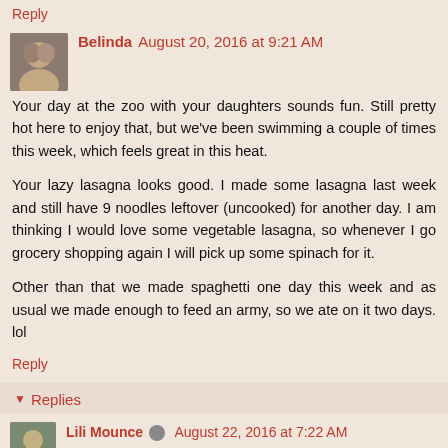Reply
Belinda  August 20, 2016 at 9:21 AM
Your day at the zoo with your daughters sounds fun. Still pretty hot here to enjoy that, but we've been swimming a couple of times this week, which feels great in this heat.

Your lazy lasagna looks good. I made some lasagna last week and still have 9 noodles leftover (uncooked) for another day. I am thinking I would love some vegetable lasagna, so whenever I go grocery shopping again I will pick up some spinach for it.

Other than that we made spaghetti one day this week and as usual we made enough to feed an army, so we ate on it two days. lol
Reply
Replies
Lili Mounce  August 22, 2016 at 7:22 AM